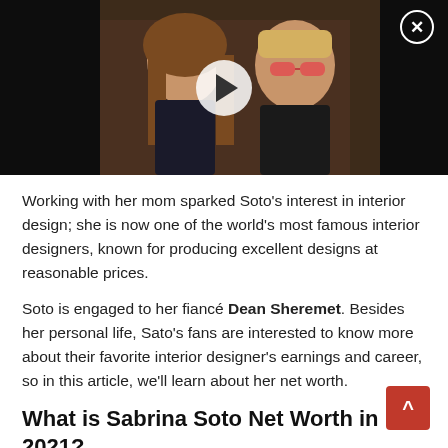[Figure (photo): Video thumbnail showing two people posing together — a woman with long brown hair in a dark outfit and a man with pink-tinted glasses and a black shirt — against a warm indoor background, with a play button overlay and a close (X) button in the top right corner.]
Working with her mom sparked Soto's interest in interior design; she is now one of the world's most famous interior designers, known for producing excellent designs at reasonable prices.
Soto is engaged to her fiancé Dean Sheremet. Besides her personal life, Sato's fans are interested to know more about their favorite interior designer's earnings and career, so in this article, we'll learn about her net worth.
What is Sabrina Soto Net Worth in 2021?
Sabrina Soto estimated net worth is around $2